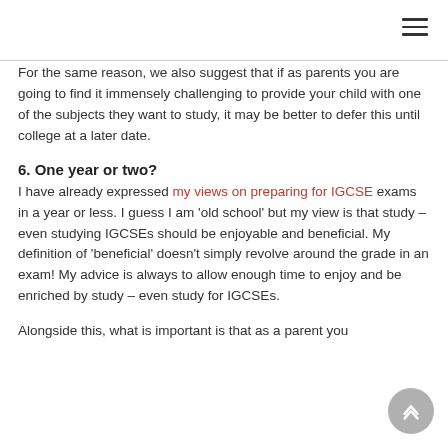≡
For the same reason, we also suggest that if as parents you are going to find it immensely challenging to provide your child with one of the subjects they want to study, it may be better to defer this until college at a later date.
6. One year or two?
I have already expressed my views on preparing for IGCSE exams in a year or less. I guess I am 'old school' but my view is that study – even studying IGCSEs should be enjoyable and beneficial. My definition of 'beneficial' doesn't simply revolve around the grade in an exam! My advice is always to allow enough time to enjoy and be enriched by study – even study for IGCSEs.
Alongside this, what is important is that as a parent you